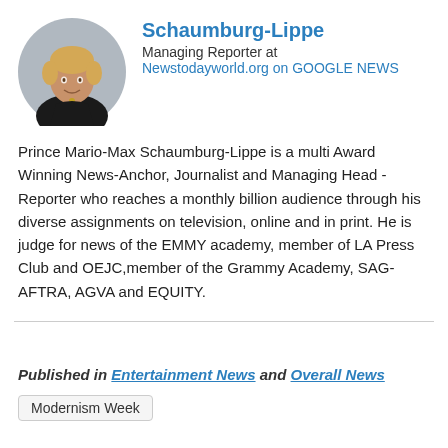[Figure (photo): Circular profile photo of a young man in a black shirt]
Schaumburg-Lippe
Managing Reporter at Newstodayworld.org on GOOGLE NEWS
Prince Mario-Max Schaumburg-Lippe is a multi Award Winning News-Anchor, Journalist and Managing Head - Reporter who reaches a monthly billion audience through his diverse assignments on television, online and in print. He is judge for news of the EMMY academy, member of LA Press Club and OEJC,member of the Grammy Academy, SAG-AFTRA, AGVA and EQUITY.
Published in Entertainment News and Overall News
Modernism Week